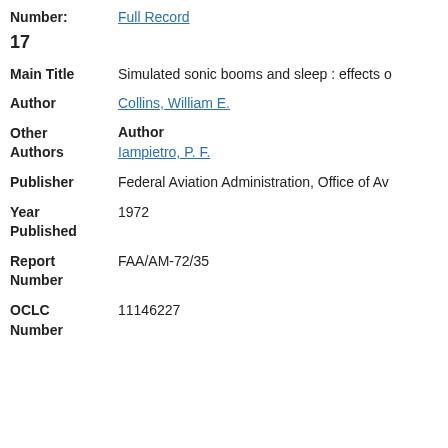Full Record
17
Main Title   Simulated sonic booms and sleep : effects o
Author   Collins, William E.
Other Authors   Author   Iampietro, P. F.
Publisher   Federal Aviation Administration, Office of Av
Year Published   1972
Report Number   FAA/AM-72/35
OCLC Number   11146227